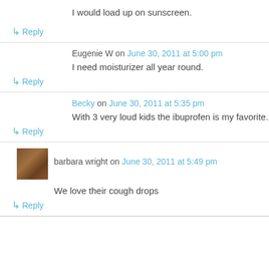I would load up on sunscreen.
↳ Reply
Eugenie W on June 30, 2011 at 5:00 pm
I need moisturizer all year round.
↳ Reply
Becky on June 30, 2011 at 5:35 pm
With 3 very loud kids the ibuprofen is my favorite.
↳ Reply
barbara wright on June 30, 2011 at 5:49 pm
We love their cough drops
↳ Reply